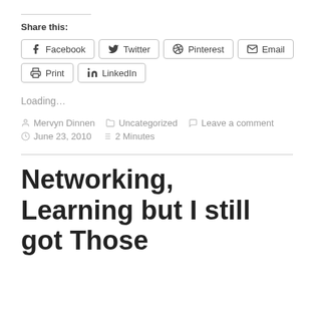Share this:
[Figure (other): Social share buttons: Facebook, Twitter, Pinterest, Email, Print, LinkedIn]
Loading...
Mervyn Dinnen   Uncategorized   Leave a comment   June 23, 2010   2 Minutes
Networking, Learning but I still got Those